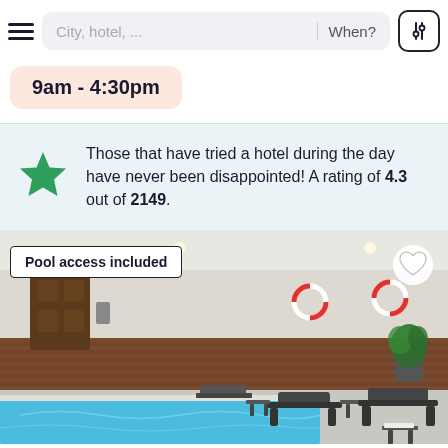City, hotel, ...  When?
9am - 4:30pm
Those that have tried a hotel during the day have never been disappointed! A rating of 4.3 out of 2149.
[Figure (photo): Indoor hotel swimming pool with blue water, lounge chairs, and wood-paneled walls. Overlay text reads 'Pool access included'.]